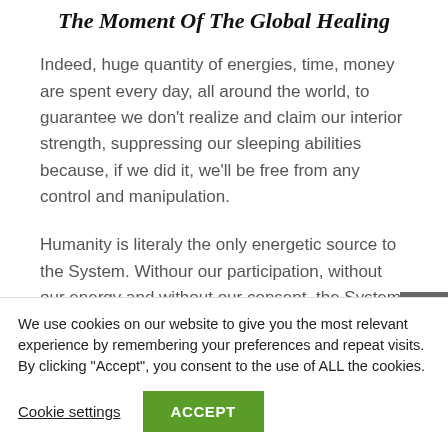The Moment Of The Global Healing
Indeed, huge quantity of energies, time, money are spent every day, all around the world, to guarantee we don't realize and claim our interior strength, suppressing our sleeping abilities because, if we did it, we'll be free from any control and manipulation.
Humanity is literaly the only energetic source to the System. Withour our participation, without our energy and without our consent, the System crash.
We use cookies on our website to give you the most relevant experience by remembering your preferences and repeat visits. By clicking "Accept", you consent to the use of ALL the cookies.